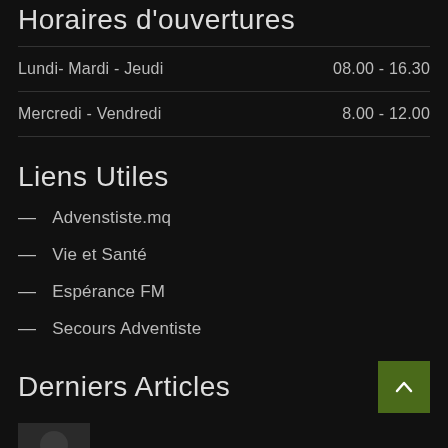Horaires d'ouvertures
| Jour | Horaire |
| --- | --- |
| Lundi- Mardi - Jeudi | 08.00 - 16.30 |
| Mercredi - Vendredi | 8.00 - 12.00 |
Liens Utiles
Advenstiste.mq
Vie et Santé
Espérance FM
Secours Adventiste
Derniers Articles
10 juin 2022